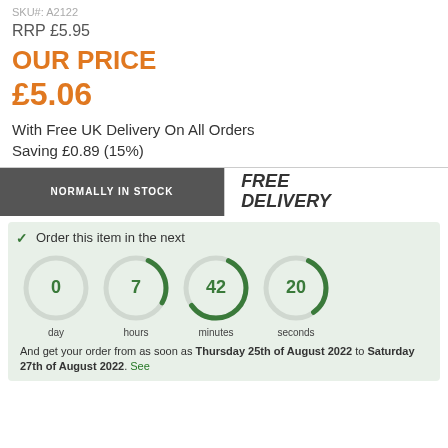SKU#: A2122
RRP £5.95
OUR PRICE £5.06
With Free UK Delivery On All Orders
Saving £0.89 (15%)
NORMALLY IN STOCK
FREE DELIVERY
Order this item in the next
[Figure (infographic): Four circular countdown timer dials showing 0 day, 7 hours, 42 minutes, 20 seconds]
And get your order from as soon as Thursday 25th of August 2022 to Saturday 27th of August 2022. See